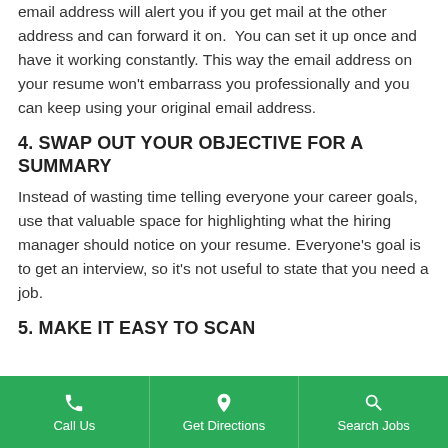email address will alert you if you get mail at the other address and can forward it on. You can set it up once and have it working constantly. This way the email address on your resume won't embarrass you professionally and you can keep using your original email address.
4. SWAP OUT YOUR OBJECTIVE FOR A SUMMARY
Instead of wasting time telling everyone your career goals, use that valuable space for highlighting what the hiring manager should notice on your resume. Everyone's goal is to get an interview, so it's not useful to state that you need a job.
5. MAKE IT EASY TO SCAN
[Figure (other): Green footer navigation bar with three buttons: Call Us (phone icon), Get Directions (location pin icon), Search Jobs (magnifying glass icon)]